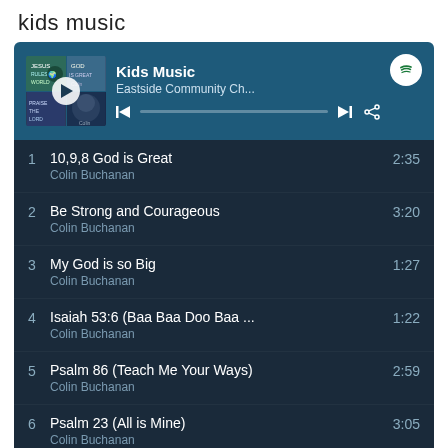kids music
[Figure (screenshot): Spotify music player interface showing 'Kids Music' playlist by Eastside Community Ch... with play controls and 6 tracks listed: 1. 10,9,8 God is Great - Colin Buchanan 2:35, 2. Be Strong and Courageous - Colin Buchanan 3:20, 3. My God is so Big - Colin Buchanan 1:27, 4. Isaiah 53:6 (Baa Baa Doo Baa ... - Colin Buchanan 1:22, 5. Psalm 86 (Teach Me Your Ways) - Colin Buchanan 2:59, 6. Psalm 23 (All is Mine) - Colin Buchanan 3:05]